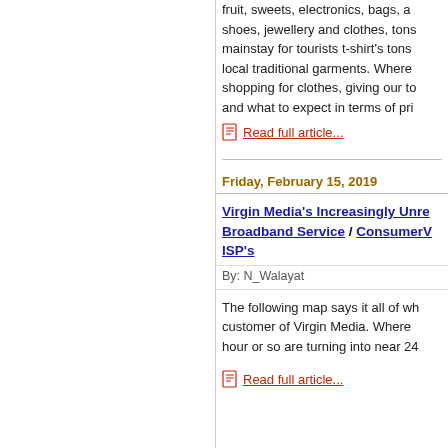fruit, sweets, electronics, bags, and shoes, jewellery and clothes, tons mainstay for tourists t-shirt's tons local traditional garments. Where shopping for clothes, giving our to and what to expect in terms of pri
Read full article...
Friday, February 15, 2019
Virgin Media's Increasingly Unre Broadband Service / ConsumerV ISP's
By: N_Walayat
The following map says it all of wh customer of Virgin Media. Where hour or so are turning into near 24
Read full article...